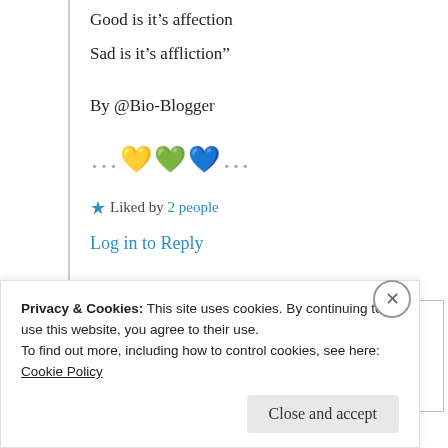Good is it’s affection
Sad is it’s affliction”
By @Bio-Blogger
... 💛💚💙 ...
★ Liked by 2 people
Log in to Reply
Privacy & Cookies: This site uses cookies. By continuing to use this website, you agree to their use. To find out more, including how to control cookies, see here: Cookie Policy
Close and accept